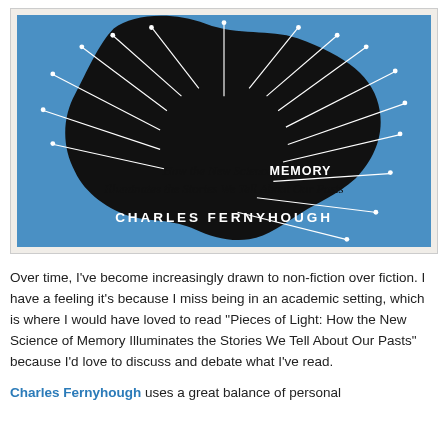[Figure (illustration): Book cover of 'Pieces of Light: How the New Science of Memory Illuminates the Stories We Tell About Our Pasts' by Charles Fernyhough. Blue background with a black silhouette of a brain/head with white lines radiating outward like neurons. Subtitle text in italic black and white, author name in white spaced capitals.]
Over time, I've become increasingly drawn to non-fiction over fiction. I have a feeling it's because I miss being in an academic setting, which is where I would have loved to read "Pieces of Light: How the New Science of Memory Illuminates the Stories We Tell About Our Pasts" because I'd love to discuss and debate what I've read.
Charles Fernyhough uses a great balance of personal